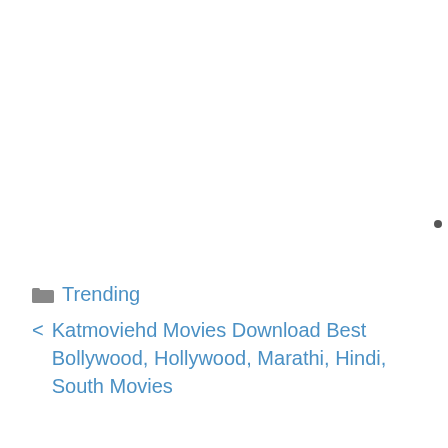📁 Trending
< Katmoviehd Movies Download Best Bollywood, Hollywood, Marathi, Hindi, South Movies